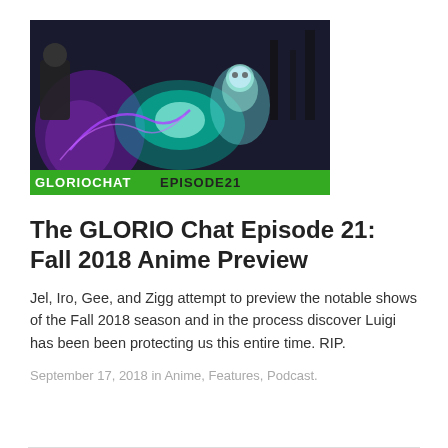[Figure (illustration): Anime art showing dark-clad characters with glowing energy effects. At the bottom a green banner reads: GLORIOCHATEPISODE21]
The GLORIO Chat Episode 21: Fall 2018 Anime Preview
Jel, Iro, Gee, and Zigg attempt to preview the notable shows of the Fall 2018 season and in the process discover Luigi has been been protecting us this entire time. RIP.
September 17, 2018 in Anime, Features, Podcast.